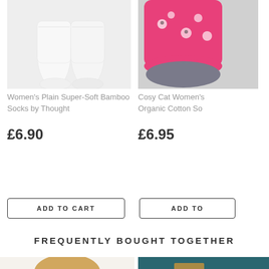[Figure (photo): White bamboo socks product photo on light grey background]
[Figure (photo): Pink Cosy Cat organic cotton socks with grey toe on grey background, partially cropped]
Women's Plain Super-Soft Bamboo Socks by Thought
£6.90
Cosy Cat Women's Organic Cotton So
£6.95
ADD TO CART
ADD TO
FREQUENTLY BOUGHT TOGETHER
[Figure (photo): Wooden circular product (partial view) on white/beige background]
[Figure (photo): Teal/dark green background with wooden item, partially visible]